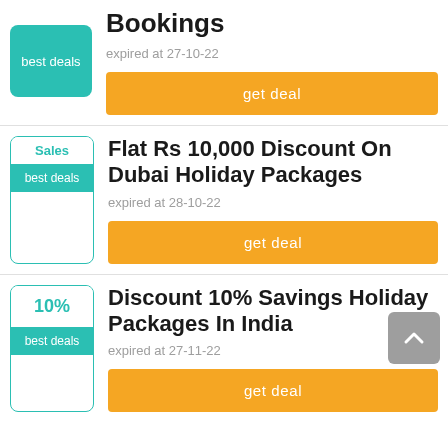[Figure (screenshot): Deal card 1 (partial, top cut off): badge showing 'best deals' on teal background, title partially showing 'Bookings', expired at 27-10-22, orange 'get deal' button]
[Figure (screenshot): Deal card 2: badge with 'Sales' in teal text and 'best deals' teal background, title 'Flat Rs 10,000 Discount On Dubai Holiday Packages', expired at 28-10-22, orange 'get deal' button]
[Figure (screenshot): Deal card 3 (partial, bottom cut off): badge with '10%' in teal text and 'best deals' teal background, title 'Discount 10% Savings Holiday Packages In India', expired at 27-11-22, orange 'get deal' button, scroll-to-top button overlay]